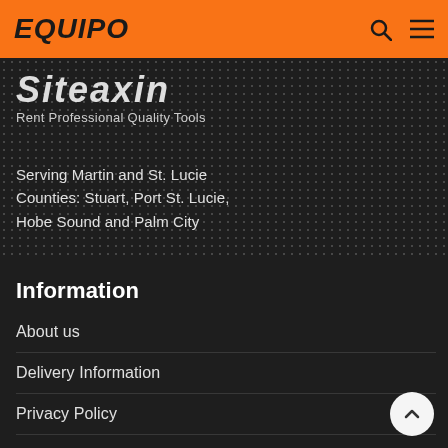EQUIPO
[Figure (screenshot): Partially visible dark banner with logo text and tagline 'Rent Professional Quality Tools' on a dark background with world map dot pattern]
Serving Martin and St. Lucie Counties: Stuart, Port St. Lucie, Hobe Sound and Palm City
Information
About us
Delivery Information
Privacy Policy
Sales
Terms & Conditions